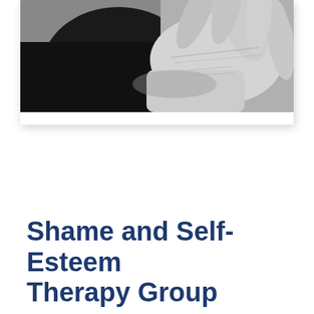[Figure (photo): Black and white photograph of a hand (close-up), possibly covering or hiding a face, suggesting shame or vulnerability.]
Shame and Self-Esteem Therapy Group